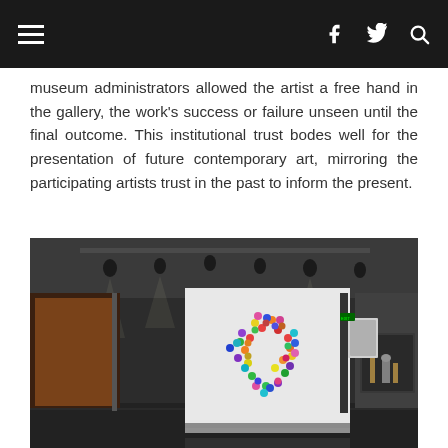navigation header with hamburger menu, facebook, twitter, and search icons
museum administrators allowed the artist a free hand in the gallery, the work’s success or failure unseen until the final outcome. This institutional trust bodes well for the presentation of future contemporary art, mirroring the participating artists trust in the past to inform the present.
[Figure (photo): Interior of a dimly lit museum gallery with track lighting on the ceiling. A large white wall panel in the center displays a circular colorful artwork composed of many small colored dots forming a sphere. To the left, a warmly lit room is visible through a doorway with wooden elements. To the right, framed works and a display case with objects are visible along the dark gray wall. The floor is dark and reflective.]